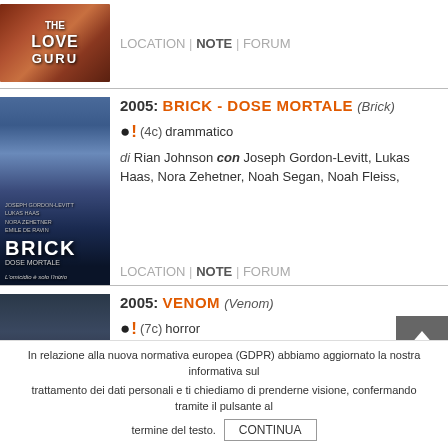[Figure (photo): Movie poster thumbnail for The Love Guru]
LOCATION | NOTE | FORUM
[Figure (photo): Movie poster for Brick - Dose Mortale (2005)]
2005: BRICK - DOSE MORTALE (Brick)
(4c) drammatico
di Rian Johnson con Joseph Gordon-Levitt, Lukas Haas, Nora Zehetner, Noah Segan, Noah Fleiss,
LOCATION | NOTE | FORUM
[Figure (photo): Movie poster for Venom (2005)]
2005: VENOM (Venom)
(7c) horror
di Jim Gillespie con Agnes Bruckner, Jonathan Jackson , Laura Ramsey, Meagan Good, Rick
LOCATION | NOTE | FORUM
In relazione alla nuova normativa europea (GDPR) abbiamo aggiornato la nostra informativa sul trattamento dei dati personali e ti chiediamo di prenderne visione, confermando tramite il pulsante al termine del testo. CONTINUA